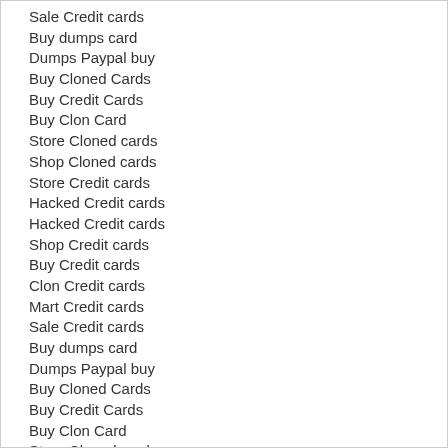Sale Credit cards
Buy dumps card
Dumps Paypal buy
Buy Cloned Cards
Buy Credit Cards
Buy Clon Card
Store Cloned cards
Shop Cloned cards
Store Credit cards
Hacked Credit cards
Hacked Credit cards
Shop Credit cards
Buy Credit cards
Clon Credit cards
Mart Credit cards
Sale Credit cards
Buy dumps card
Dumps Paypal buy
Buy Cloned Cards
Buy Credit Cards
Buy Clon Card
Store Cloned cards
Shop Cloned cards
Store Credit cards
Hacked Credit cards
Hacked Credit cards
Shop Credit cards
Buy Credit cards
Clon Credit cards
Mart Credit cards